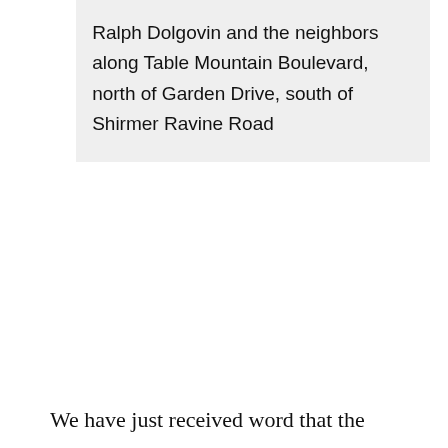Ralph Dolgovin and the neighbors along Table Mountain Boulevard, north of Garden Drive, south of Shirmer Ravine Road
We have just received word that the